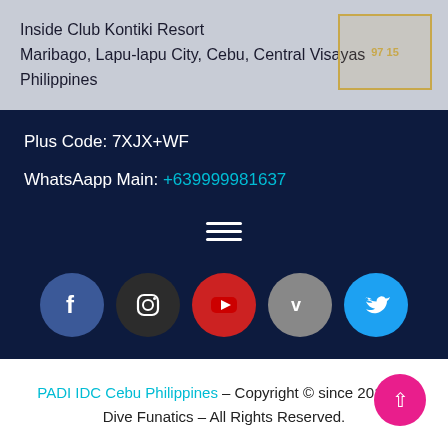Inside Club Kontiki Resort
Maribago, Lapu-lapu City, Cebu, Central Visayas
Philippines
[Figure (other): Map badge overlay with text '97 15']
Plus Code: 7XJX+WF
WhatsApp Main: +639999981637
[Figure (other): Hamburger menu icon (three horizontal lines)]
[Figure (other): Row of five social media icon circles: Facebook (blue), Instagram (dark gray), YouTube (red), Vimeo (gray), Twitter (light blue)]
PADI IDC Cebu Philippines – Copyright © since 2013 by Dive Funatics – All Rights Reserved.